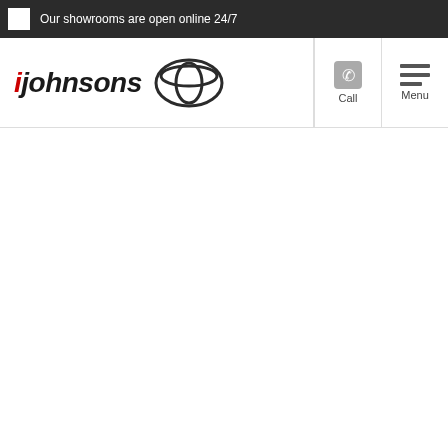Our showrooms are open online 24/7
[Figure (logo): Johnsons Toyota dealership logo with Toyota oval emblem]
[Figure (infographic): Call button with phone icon and 'Call' label]
[Figure (infographic): Menu button with hamburger menu icon and 'Menu' label]